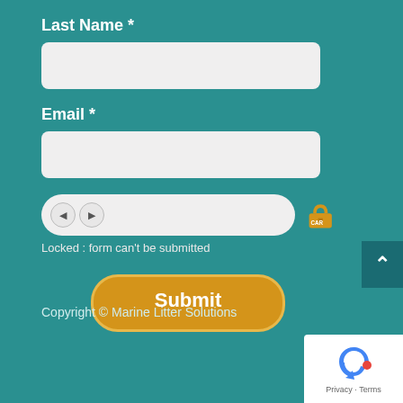Last Name *
Email *
Locked : form can't be submitted
Submit
Copyright © Marine Litter Solutions